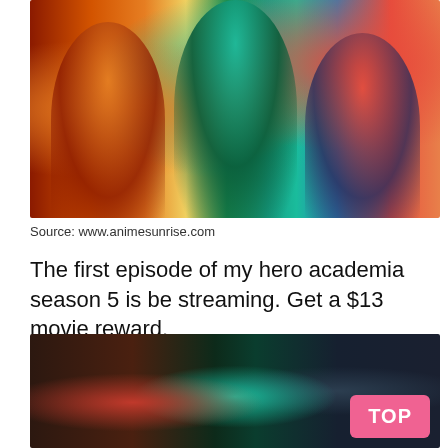[Figure (illustration): My Hero Academia promotional art showing three main characters (Bakugo on left with explosion effects, Deku/Izuku Midoriya in center with green lightning, Todoroki on right with ice/fire) against an orange, green and blue background.]
Source: www.animesunrise.com
The first episode of my hero academia season 5 is be streaming. Get a $13 movie reward.
[Figure (illustration): Dark-themed My Hero Academia scene showing Bakugo (left, with red explosive effects), Deku/Izuku (center, with teal/cyan glowing effects), and Todoroki (right, with white/grey glow) in dark cinematic style. A pink 'TOP' button is visible in the bottom right corner.]